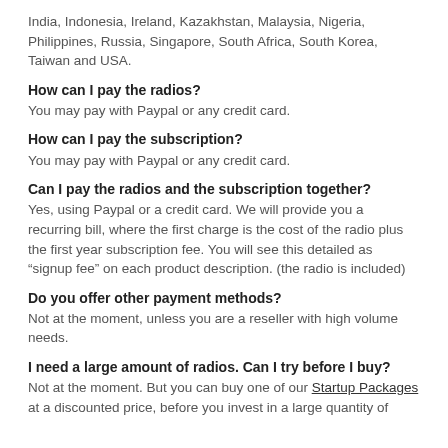India, Indonesia, Ireland, Kazakhstan, Malaysia, Nigeria, Philippines, Russia, Singapore, South Africa, South Korea, Taiwan and USA.
How can I pay the radios?
You may pay with Paypal or any credit card.
How can I pay the subscription?
You may pay with Paypal or any credit card.
Can I pay the radios and the subscription together?
Yes, using Paypal or a credit card. We will provide you a recurring bill, where the first charge is the cost of the radio plus the first year subscription fee. You will see this detailed as “signup fee” on each product description. (the radio is included)
Do you offer other payment methods?
Not at the moment, unless you are a reseller with high volume needs.
I need a large amount of radios. Can I try before I buy?
Not at the moment. But you can buy one of our Startup Packages at a discounted price, before you invest in a large quantity of